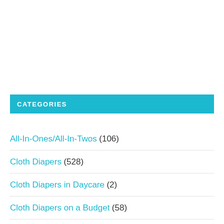CATEGORIES
All-In-Ones/All-In-Twos (106)
Cloth Diapers (528)
Cloth Diapers in Daycare (2)
Cloth Diapers on a Budget (58)